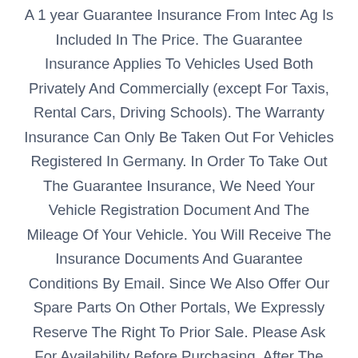A 1 year Guarantee Insurance From Intec Ag Is Included In The Price. The Guarantee Insurance Applies To Vehicles Used Both Privately And Commercially (except For Taxis, Rental Cars, Driving Schools). The Warranty Insurance Can Only Be Taken Out For Vehicles Registered In Germany. In Order To Take Out The Guarantee Insurance, We Need Your Vehicle Registration Document And The Mileage Of Your Vehicle. You Will Receive The Insurance Documents And Guarantee Conditions By Email. Since We Also Offer Our Spare Parts On Other Portals, We Expressly Reserve The Right To Prior Sale. Please Ask For Availability Before Purchasing. After The Purchase, Please Use The Ebay